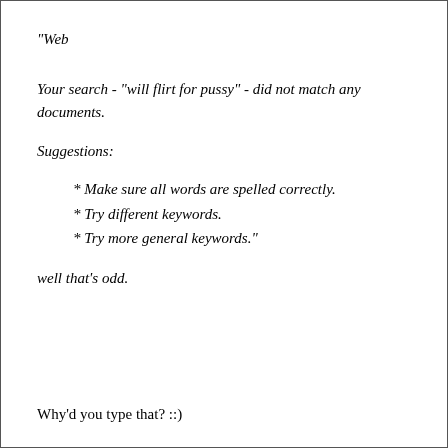"Web
Your search - "will flirt for pussy" - did not match any documents.
Suggestions:
* Make sure all words are spelled correctly.
* Try different keywords.
* Try more general keywords."
well that's odd.
Why'd you type that? ::)